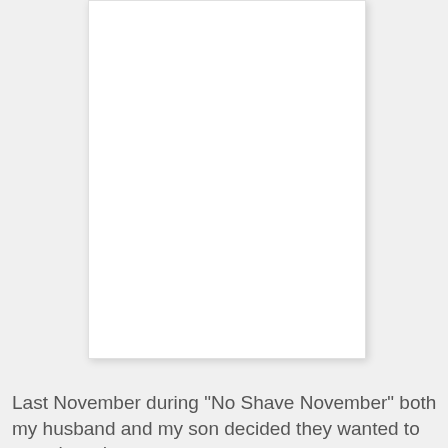[Figure (photo): A white rectangular image placeholder with light border and shadow, representing a photo area]
Last November during "No Shave November" both my husband and my son decided they wanted to grow beards.